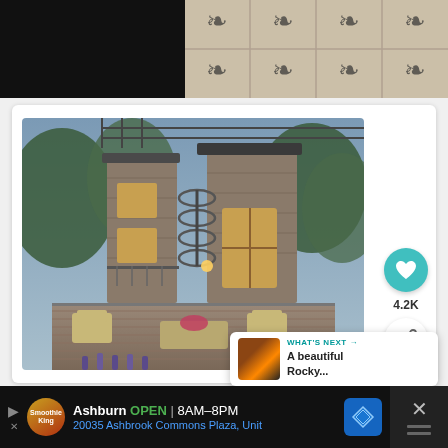[Figure (photo): Top strip: left half dark/black texture, right half white decorative tile pattern with ornate circular motifs in a 4x2 grid]
[Figure (photo): Main house photo: exterior of a multi-story stone and wood house with spiral staircase, deck with outdoor seating (chairs and coffee table with flowers), surrounded by trees and lavender plants, taken at dusk]
4.2K
WHAT'S NEXT → A beautiful Rocky...
Ashburn OPEN | 8AM–8PM
20035 Ashbrook Commons Plaza, Unit